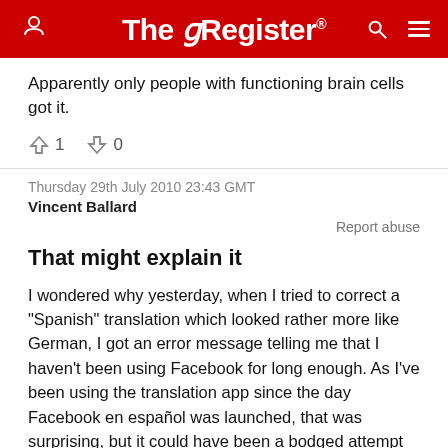The Register
Apparently only people with functioning brain cells got it.
↑1  ↓0
Thursday 29th July 2010 23:43 GMT
Vincent Ballard
Report abuse
That might explain it
I wondered why yesterday, when I tried to correct a "Spanish" translation which looked rather more like German, I got an error message telling me that I haven't been using Facebook for long enough. As I've been using the translation app since the day Facebook en español was launched, that was surprising, but it could have been a bodged attempt to suspend translation while they decide what to do.